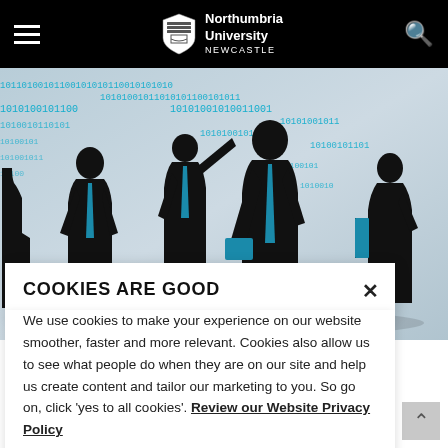Northumbria University NEWCASTLE
[Figure (illustration): Business silhouettes of professionals in suits standing against a background filled with binary code (1s and 0s) in teal/blue color. Several figures including a man pointing, a man holding a folder, and a woman holding a book.]
COOKIES ARE GOOD
We use cookies to make your experience on our website smoother, faster and more relevant. Cookies also allow us to see what people do when they are on our site and help us create content and tailor our marketing to you. So go on, click 'yes to all cookies'. Review our Website Privacy Policy